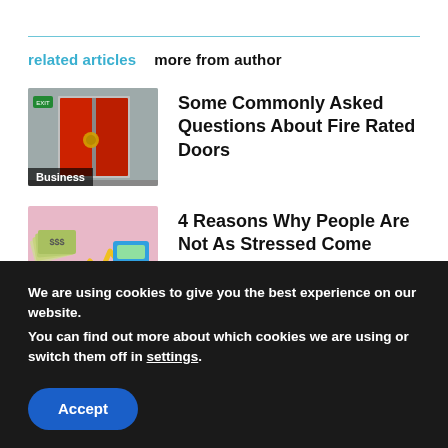related articles    more from author
[Figure (photo): Red fire rated door on grey wall with green exit sign, labeled Business]
Some Commonly Asked Questions About Fire Rated Doors
[Figure (photo): Hands holding cash with yellow zig-zag arrow and blue calculator on pink background, labeled Business]
4 Reasons Why People Are Not As Stressed Come Payday
We are using cookies to give you the best experience on our website.
You can find out more about which cookies we are using or switch them off in settings.
Accept